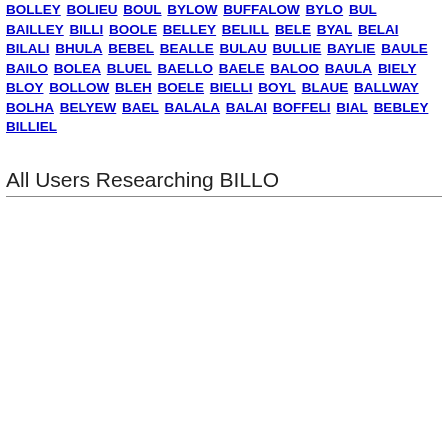BOLLEY BOLIEU BOUL BYLOW BUFFALOW BYLO BUL BAILLEY BILLI BOOLE BELLEY BELILL BELE BYAL BELAI BILALI BHULA BEBEL BEALLE BULAU BULLIE BAYLIE BAULE BAILO BOLEA BLUEL BAELLO BAELE BALOO BAULA BIELY BLOY BOLLOW BLEH BOELE BIELLI BOYL BLAUE BALLWAY BOLHA BELYEW BAEL BALALA BALAI BOFFELI BIAL BEBLEY BILLIEL
All Users Researching BILLO